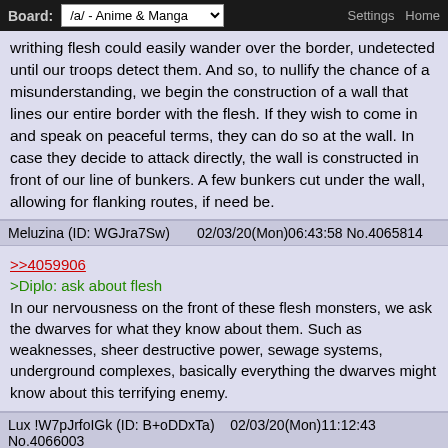Board: /a/ - Anime & Manga | Settings | Home
writhing flesh could easily wander over the border, undetected until our troops detect them. And so, to nullify the chance of a misunderstanding, we begin the construction of a wall that lines our entire border with the flesh. If they wish to come in and speak on peaceful terms, they can do so at the wall. In case they decide to attack directly, the wall is constructed in front of our line of bunkers. A few bunkers cut under the wall, allowing for flanking routes, if need be.
Meluzina (ID: WGJra7Sw) 02/03/20(Mon)06:43:58 No.4065814
>>4059906
>Diplo: ask about flesh
In our nervousness on the front of these flesh monsters, we ask the dwarves for what they know about them. Such as weaknesses, sheer destructive power, sewage systems, underground complexes, basically everything the dwarves might know about this terrifying enemy.
Lux !W7pJrfoIGk (ID: B+oDDxTa) 02/03/20(Mon)11:12:43 No.4066003
Posted on behalf of the Hive

-Begin experimenting with integrating the Kahro into Karnis society by having them replace our dead and taking up a more active role in the Mausoleum.